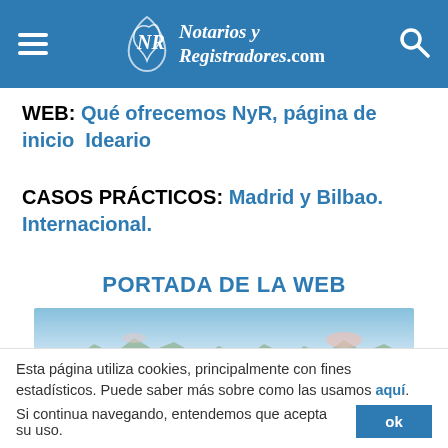Notarios y Registradores.com
WEB: Qué ofrecemos NyR, página de inicio Ideario
CASOS PRÁCTICOS: Madrid y Bilbao. Internacional.
PORTADA DE LA WEB
[Figure (photo): Coastal/mountain landscape panoramic photo with pale blue sky and green hills]
Esta página utiliza cookies, principalmente con fines estadísticos. Puede saber más sobre como las usamos aquí. Si continua navegando, entendemos que acepta su uso.